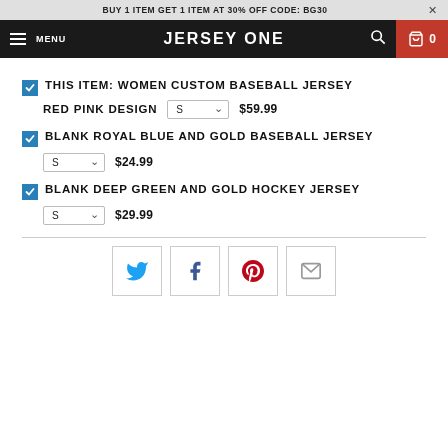BUY 1 ITEM GET 1 ITEM AT 30% OFF CODE: BG30
JERSEY ONE   MENU
THIS ITEM: WOMEN CUSTOM BASEBALL JERSEY RED PINK DESIGN  S  $59.99
BLANK ROYAL BLUE AND GOLD BASEBALL JERSEY  S  $24.99
BLANK DEEP GREEN AND GOLD HOCKEY JERSEY  S  $29.99
[Figure (other): Social sharing buttons: Twitter, Facebook, Pinterest, Email]